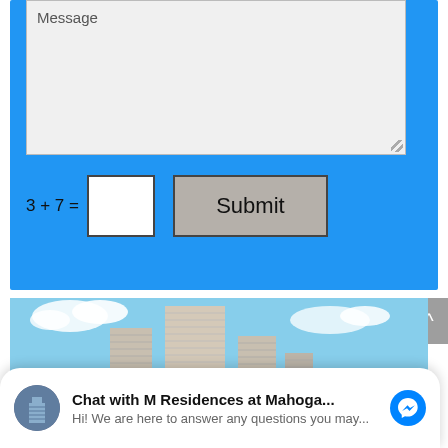[Figure (screenshot): Blue contact form section with a message textarea (showing placeholder text 'Message'), a CAPTCHA math question '3 + 7 =' with an input box, and a Submit button]
Message
3 + 7 =
Submit
[Figure (photo): Photo of a tall modern residential tower building against a blue sky with clouds]
Chat with M Residences at Mahoga...
Hi! We are here to answer any questions you may...